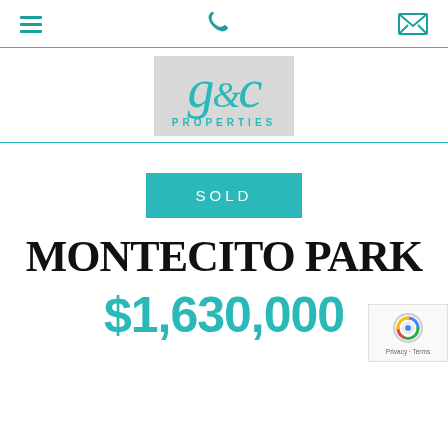Navigation bar with hamburger menu, phone icon, and email icon
[Figure (logo): g&c Properties logo — cursive teal script 'g&c' on grey background with 'PROPERTIES' in teal spaced capitals below]
SOLD
MONTECITO PARK
$1,630,000